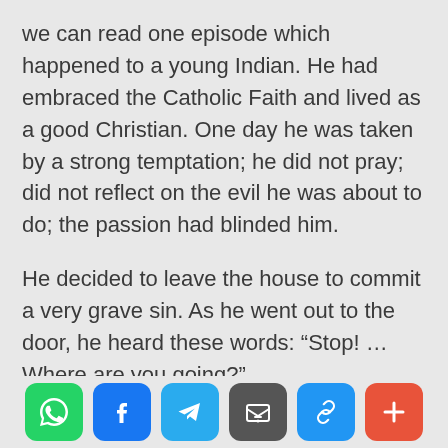we can read one episode which happened to a young Indian. He had embraced the Catholic Faith and lived as a good Christian. One day he was taken by a strong temptation; he did not pray; did not reflect on the evil he was about to do; the passion had blinded him.
He decided to leave the house to commit a very grave sin. As he went out to the door, he heard these words: “Stop! … Where are you going?”
He turned and saw a prodigy: the image of Our Lady of Sorrows, which was on the wall,
[Figure (other): Footer bar with six social/share icon buttons: WhatsApp (green), Facebook (blue), Telegram (blue), Email/inbox (dark gray), Link/chain (blue), More/plus (red-orange)]